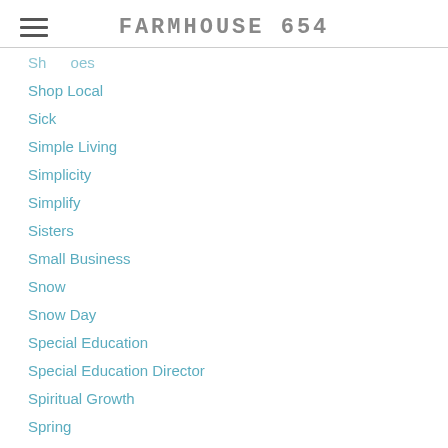FARMHOUSE 654
Shop Local
Sick
Simple Living
Simplicity
Simplify
Sisters
Small Business
Snow
Snow Day
Special Education
Special Education Director
Spiritual Growth
Spring
Start
Stop Day
Storage
Stress